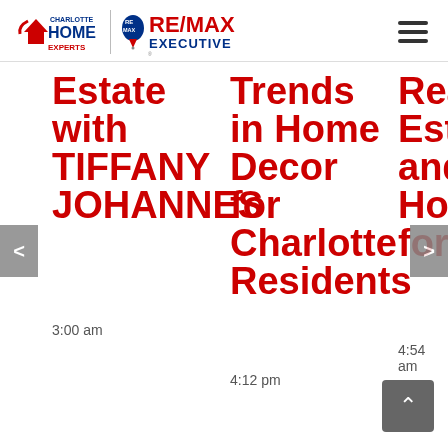[Figure (logo): Charlotte Home Experts logo with house icon and RE/MAX Executive logo with balloon icon, separated by a vertical divider]
Estate with TIFFANY JOHANNES
3:00 am
Trends in Home Decor for Charlotte Residents
4:12 pm
Real Estate and Homes for Sale
4:54 am